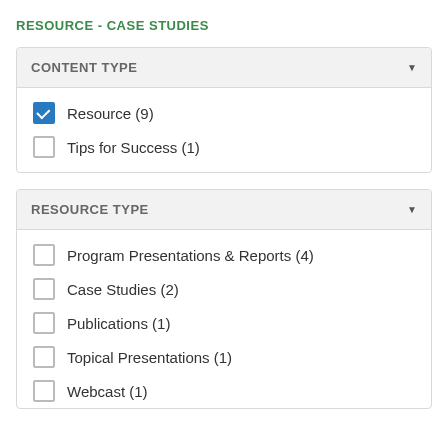RESOURCE - CASE STUDIES
CONTENT TYPE
Resource (9)
Tips for Success (1)
RESOURCE TYPE
Program Presentations & Reports (4)
Case Studies (2)
Publications (1)
Topical Presentations (1)
Webcast (1)